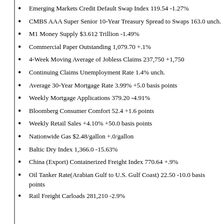Emerging Markets Credit Default Swap Index 119.54 -1.27%
CMBS AAA Super Senior 10-Year Treasury Spread to Swaps 163.0 unch.
M1 Money Supply $3.612 Trillion -1.49%
Commercial Paper Outstanding 1,079.70 +.1%
4-Week Moving Average of Jobless Claims 237,750 +1,750
Continuing Claims Unemployment Rate 1.4% unch.
Average 30-Year Mortgage Rate 3.99% +5.0 basis points
Weekly Mortgage Applications 379.20 -4.91%
Bloomberg Consumer Comfort 52.4 +1.6 points
Weekly Retail Sales +4.10% +50.0 basis points
Nationwide Gas $2.48/gallon +.0/gallon
Baltic Dry Index 1,366.0 -15.63%
China (Export) Containerized Freight Index 770.64 +.9%
Oil Tanker Rate(Arabian Gulf to U.S. Gulf Coast) 22.50 -10.0 basis points
Rail Freight Carloads 281,210 -2.9%